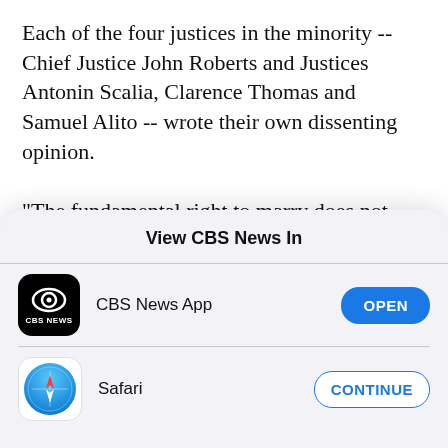Each of the four justices in the minority -- Chief Justice John Roberts and Justices Antonin Scalia, Clarence Thomas and Samuel Alito -- wrote their own dissenting opinion.
"The fundamental right to marry does not include a right to make a State change its definition of marriage," Roberts wrote in his dissent. "And a State's decision to maintain the meaning of marriage
[Figure (screenshot): iOS app picker modal overlay with title 'View CBS News In', showing CBS News App with OPEN button and Safari with CONTINUE button]